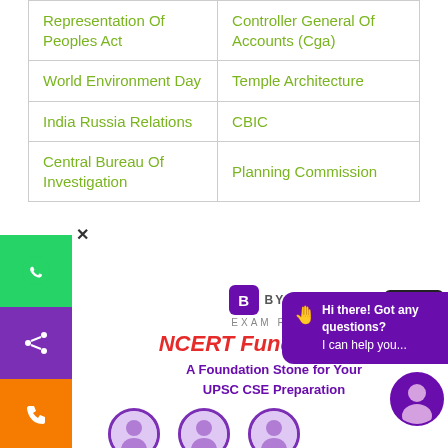| Representation Of Peoples Act | Controller General Of Accounts (Cga) |
| World Environment Day | Temple Architecture |
| India Russia Relations | CBIC |
| Central Bureau Of Investigation | Planning Commission |
[Figure (screenshot): BYJU'S Exam Prep banner for 'NCERT Fundamentals - A Foundation Stone for Your UPSC CSE Preparation' with instructor photos at the bottom, a chat bubble overlay saying 'Hi there! Got any questions? I can help you...', and a scroll-to-top button. Left sidebar shows WhatsApp, share, and phone icons.]